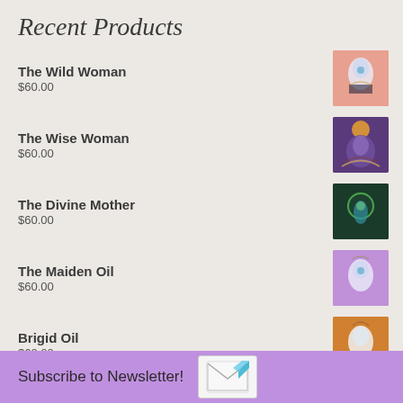Recent Products
The Wild Woman
$60.00
The Wise Woman
$60.00
The Divine Mother
$60.00
The Maiden Oil
$60.00
Brigid Oil
$60.00
Tags
Subscribe to Newsletter!